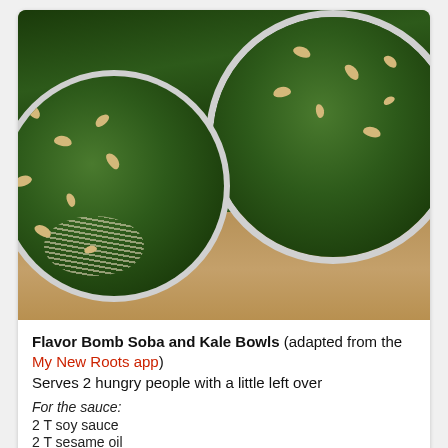[Figure (photo): Two white bowls filled with soba noodles, kale, and cashews on a wooden cutting board surface. The bowls contain dark green kale and tan/cream colored cashews scattered on top with noodles visible beneath.]
Flavor Bomb Soba and Kale Bowls (adapted from the My New Roots app)
Serves 2 hungry people with a little left over
For the sauce:
2 T soy sauce
2 T sesame oil